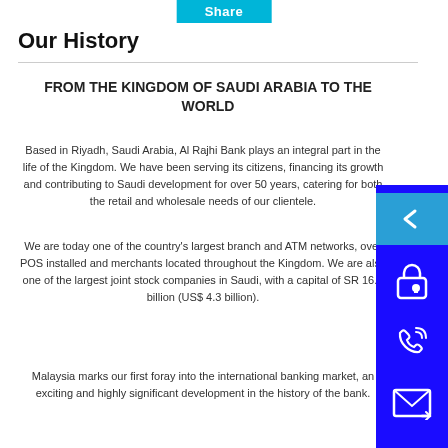Share
Our History
FROM THE KINGDOM OF SAUDI ARABIA TO THE WORLD
Based in Riyadh, Saudi Arabia, Al Rajhi Bank plays an integral part in the life of the Kingdom. We have been serving its citizens, financing its growth and contributing to Saudi development for over 50 years, catering for both the retail and wholesale needs of our clientele.
We are today one of the country's largest branch and ATM networks, over POS installed and merchants located throughout the Kingdom. We are also one of the largest joint stock companies in Saudi, with a capital of SR 16.5 billion (US$ 4.3 billion).
Malaysia marks our first foray into the international banking market, an exciting and highly significant development in the history of the bank.